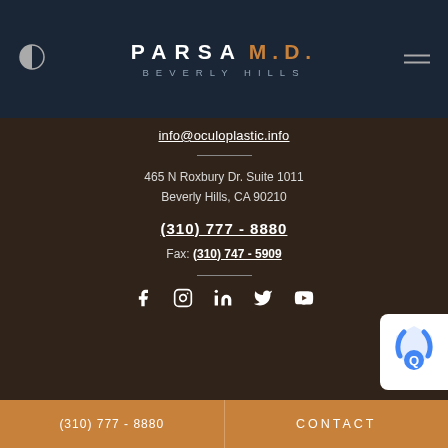PARSA M.D. BEVERLY HILLS
info@oculoplastic.info
465 N Roxbury Dr. Suite 1011
Beverly Hills, CA 90210
(310) 777 - 8880
Fax: (310) 747 - 5909
[Figure (infographic): Social media icons: Facebook, Instagram, LinkedIn, Twitter, YouTube]
(310) 777 - 8880   CONTACT